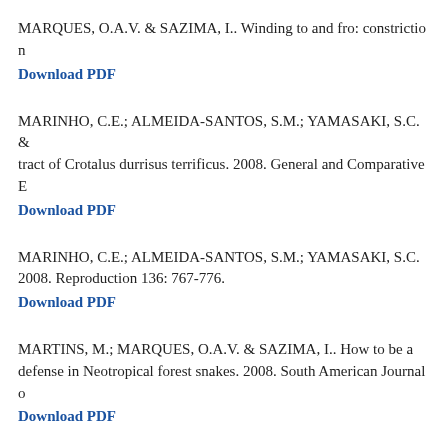MARQUES, O.A.V. & SAZIMA, I.. Winding to and fro: constriction
Download PDF
MARINHO, C.E.; ALMEIDA-SANTOS, S.M.; YAMASAKI, S.C. & tract of Crotalus durrisus terrificus. 2008. General and Comparative
Download PDF
MARINHO, C.E.; ALMEIDA-SANTOS, S.M.; YAMASAKI, S.C. 2008. Reproduction 136: 767-776.
Download PDF
MARTINS, M.; MARQUES, O.A.V. & SAZIMA, I.. How to be a defense in Neotropical forest snakes. 2008. South American Journal
Download PDF